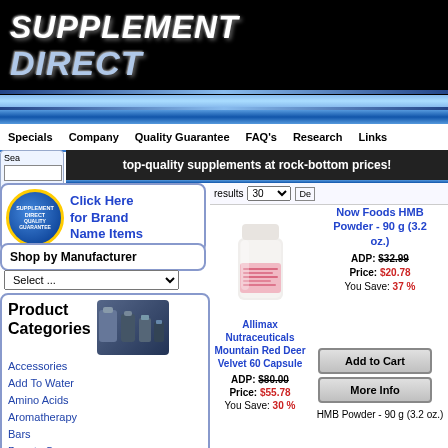[Figure (logo): Supplement Direct logo - white italic text on black background]
top-quality supplements at rock-bottom prices!
Specials  Company  Quality Guarantee  FAQ's  Research  Links
Click Here for Brand Name Items
Shop by Manufacturer
Select ...
Product Categories
Accessories
Add To Water
Amino Acids
Aromatherapy
Bars
Beauty Care
Cardiovascular Support
Cholesterol/Cardiovascular Support
results  30
[Figure (photo): White supplement bottle with pink label - Now Foods HMB Powder]
Allimax Nutraceuticals Mountain Red Deer Velvet 60 Capsule
ADP: $80.00
Price: $55.78
You Save: 30 %
Now Foods HMB Powder - 90 g (3.2 oz.)
ADP: $32.99
Price: $20.78
You Save: 37 %
Add to Cart
More Info
HMB Powder - 90 g (3.2 oz.)